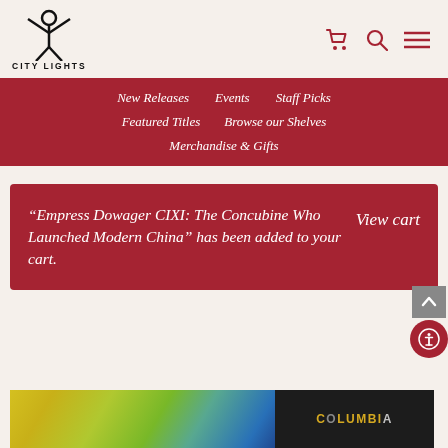[Figure (logo): City Lights bookstore logo — stick figure with arms raised, text CITY LIGHTS below]
Navigation icons: shopping cart, search, menu
New Releases
Events
Staff Picks
Featured Titles
Browse our Shelves
Merchandise & Gifts
“Empress Dowager CIXI: The Concubine Who Launched Modern China” has been added to your cart.
View cart
[Figure (photo): Bottom portion of a book cover showing yellow and blue colors with text COLUMBIA]